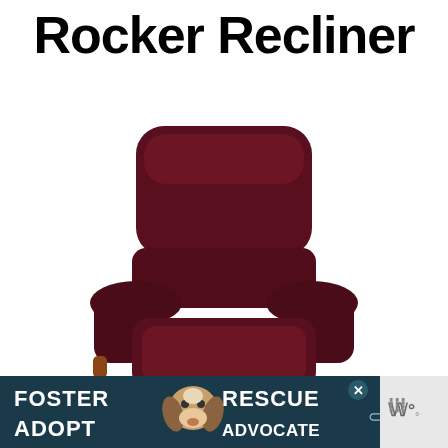Rocker Recliner
[Figure (photo): A dark burgundy/maroon upholstered rocker recliner chair shown from the front, in upright position]
[Figure (infographic): Advertisement banner with dark teal background showing FOSTER ADOPT RESCUE ADVOCATE text with a beagle/hound dog image in the center, close button, and Merriam-Webster logo on the right]